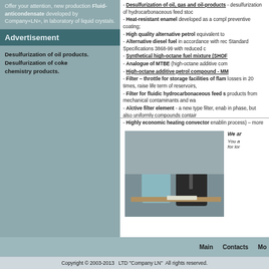Offer your attention, new production Fluid-anticondensate developed by Company«LN», in laboratory of liquid crystals.
Advertisement
Desulfurization of oil products. Desulfurization of coke chemistry products.
Desulfurization of oil, gas and oil-products - desulfurization of hydrocarbonaceous feed stock
Heat-resistant enamel developed as a complex preventive coating;
High quality alternative petrol equivalent to
Alternative diesel fuel in accordance with rec Standard Specifications 3868-99 with reduced c
Synthetical high-octane fuel mixture (SHOF)
Analogue of MTBE (high-octane additive com
High-octane additive petrol compound - MM
Filter – throttle for storage facilities of flam losses in 20 times, raise life term of reservoirs,
Filter for fluidic hydrocarbonaceous feed s products from mechanical contaminants and wa
Alctive filter element - a new type filter, enab in phase, but also uniformly compounds contair
Highly economic heating convector enablin process) – more than in 2 times.
[Figure (photo): Two people, a woman and an older man, sitting together. The man is speaking on a telephone.]
We are You a for lor
Main    Contacts    Mo
Copyright © 2003-2013   LTD "Company LN"  All rights reserved.